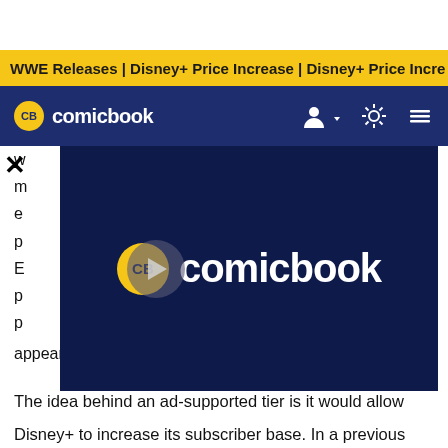WWE Releases | Disney+ Price Increase | Disney+ Price Incre
[Figure (logo): CB comicbook navigation logo on dark blue nav bar with user icon, brightness icon, and hamburger menu]
[Figure (screenshot): Video player overlay with CB comicbook logo and play button on dark navy background]
appear to an even broader audience.
The idea behind an ad-supported tier is it would allow Disney+ to increase its subscriber base. In a previous